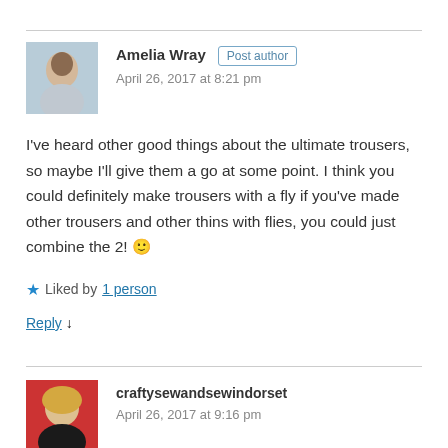Amelia Wray  Post author
April 26, 2017 at 8:21 pm
I've heard other good things about the ultimate trousers, so maybe I'll give them a go at some point. I think you could definitely make trousers with a fly if you've made other trousers and other thins with flies, you could just combine the 2! 🙂
★ Liked by 1 person
Reply ↓
craftysewandsewindorset
April 26, 2017 at 9:16 pm